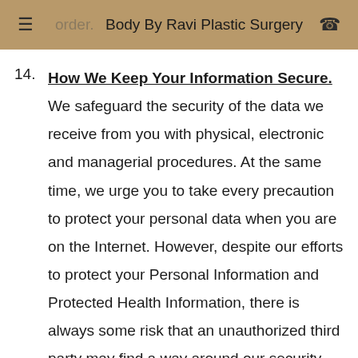≡  order.  Body By Ravi Plastic Surgery  ☎
14. How We Keep Your Information Secure. We safeguard the security of the data we receive from you with physical, electronic and managerial procedures. At the same time, we urge you to take every precaution to protect your personal data when you are on the Internet. However, despite our efforts to protect your Personal Information and Protected Health Information, there is always some risk that an unauthorized third party may find a way around our security systems or that transmissions of your information over the Internet will be intercepted. Therefore, we cannot guarantee